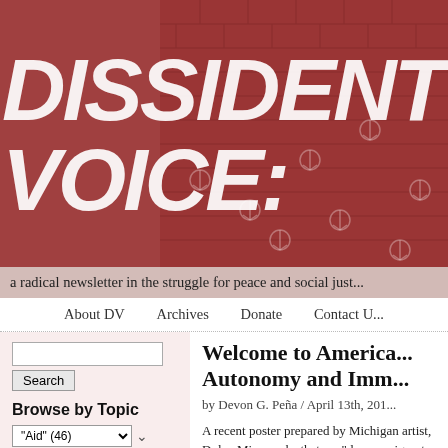[Figure (screenshot): Dissident Voice website header with large grunge-style text 'DISSIDENT VOICE' over a dark red brick background with peace symbols]
a radical newsletter in the struggle for peace and social just...
About DV   Archives   Donate   Contact U...
Search
Browse by Topic
"Aid" (46)
Filter articles
Poetry on Sunday
Welcome to America... Autonomy and Imm...
by Devon G. Peña / April 13th, 201...
A recent poster prepared by Michigan artist, Dylan Miner, asks that we "deco... migrant solidarity." On seeing this bea... reflect on the perverse nature of U.S. i...